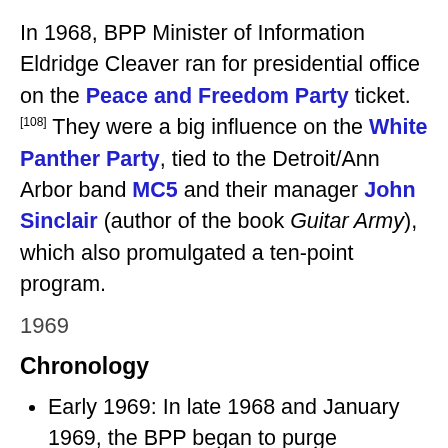In 1968, BPP Minister of Information Eldridge Cleaver ran for presidential office on the Peace and Freedom Party ticket.[108] They were a big influence on the White Panther Party, tied to the Detroit/Ann Arbor band MC5 and their manager John Sinclair (author of the book Guitar Army), which also promulgated a ten-point program.
1969
Chronology
Early 1969: In late 1968 and January 1969, the BPP began to purge members due to fears about law enforcement infiltration and various petty disagreements.
January 14, 1969: The Los Angeles chapter was involved in a shootout with members of the black nationalist US Organization